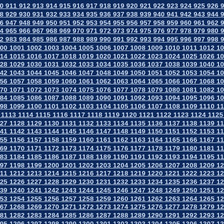910 911 912 913 914 915 916 917 918 919 920 921 922 923 924 925 926 927 928 929 930 931 932 933 934 935 936 937 938 939 940 941 942 943 944 945 946 947 948 949 950 951 952 953 954 955 956 957 958 959 960 961 962 963 964 965 966 967 968 969 970 971 972 973 974 975 976 977 978 979 980 981 982 983 984 985 986 987 988 989 990 991 992 993 994 995 996 997 998 999 1000 1001 1002 1003 1004 1005 1006 1007 1008 1009 1010 1011 1012 1013 1014 1015 1016 1017 1018 1019 1020 1021 1022 1023 1024 1025 1026 1027 1028 1029 1030 1031 1032 1033 1034 1035 1036 1037 1038 1039 1040 1041 1042 1043 1044 1045 1046 1047 1048 1049 1050 1051 1052 1053 1054 1055 1056 1057 1058 1059 1060 1061 1062 1063 1064 1065 1066 1067 1068 1069 1070 1071 1072 1073 1074 1075 1076 1077 1078 1079 1080 1081 1082 1083 1084 1085 1086 1087 1088 1089 1090 1091 1092 1093 1094 1095 1096 1097 1098 1099 1100 1101 1102 1103 1104 1105 1106 1107 1108 1109 1110 1111 1112 1113 1114 1115 1116 1117 1118 1119 1120 1121 1122 1123 1124 1125 1126 1127 1128 1129 1130 1131 1132 1133 1134 1135 1136 1137 1138 1139 1140 1141 1142 1143 1144 1145 1146 1147 1148 1149 1150 1151 1152 1153 1154 1155 1156 1157 1158 1159 1160 1161 1162 1163 1164 1165 1166 1167 1168 1169 1170 1171 1172 1173 1174 1175 1176 1177 1178 1179 1180 1181 1182 1183 1184 1185 1186 1187 1188 1189 1190 1191 1192 1193 1194 1195 1196 1197 1198 1199 1200 1201 1202 1203 1204 1205 1206 1207 1208 1209 1210 1211 1212 1213 1214 1215 1216 1217 1218 1219 1220 1221 1222 1223 1224 1225 1226 1227 1228 1229 1230 1231 1232 1233 1234 1235 1236 1237 1238 1239 1240 1241 1242 1243 1244 1245 1246 1247 1248 1249 1250 1251 1252 1253 1254 1255 1256 1257 1258 1259 1260 1261 1262 1263 1264 1265 1266 1267 1268 1269 1270 1271 1272 1273 1274 1275 1276 1277 1278 1279 1280 1281 1282 1283 1284 1285 1286 1287 1288 1289 1290 1291 1292 1293 1294 1295 1296 1297 1298 1299 1300 1301 1302 1303 1304 1305 1306 1307 1308 1309 1310 1311 1312 1313 1314 1315 1316 1317 1318 1319 1320 1321 1322